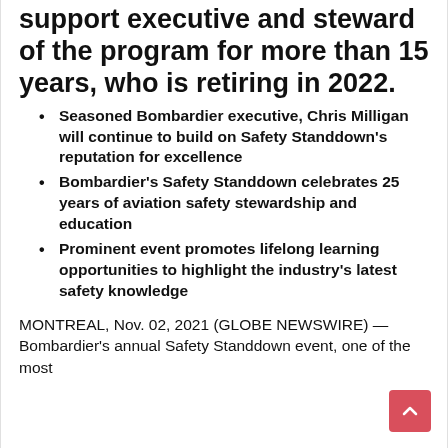support executive and steward of the program for more than 15 years, who is retiring in 2022.
Seasoned Bombardier executive, Chris Milligan will continue to build on Safety Standdown's reputation for excellence
Bombardier's Safety Standdown celebrates 25 years of aviation safety stewardship and education
Prominent event promotes lifelong learning opportunities to highlight the industry's latest safety knowledge
MONTREAL, Nov. 02, 2021 (GLOBE NEWSWIRE) — Bombardier's annual Safety Standdown event, one of the most